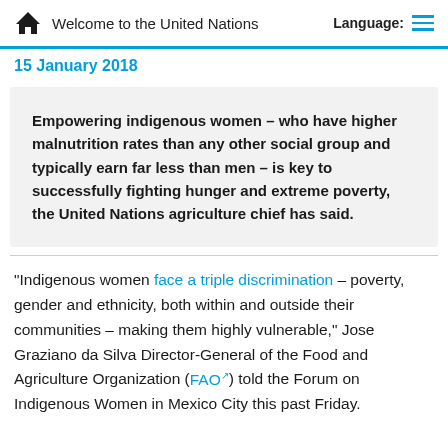Welcome to the United Nations
15 January 2018
Empowering indigenous women – who have higher malnutrition rates than any other social group and typically earn far less than men – is key to successfully fighting hunger and extreme poverty, the United Nations agriculture chief has said.
“Indigenous women face a triple discrimination – poverty, gender and ethnicity, both within and outside their communities – making them highly vulnerable,” Jose Graziano da Silva Director-General of the Food and Agriculture Organization (FAO) told the Forum on Indigenous Women in Mexico City this past Friday.